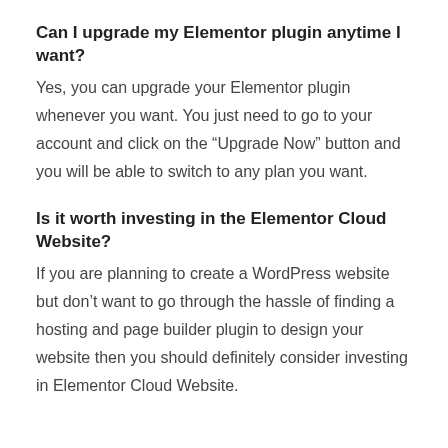Can I upgrade my Elementor plugin anytime I want?
Yes, you can upgrade your Elementor plugin whenever you want. You just need to go to your account and click on the “Upgrade Now” button and you will be able to switch to any plan you want.
Is it worth investing in the Elementor Cloud Website?
If you are planning to create a WordPress website but don’t want to go through the hassle of finding a hosting and page builder plugin to design your website then you should definitely consider investing in Elementor Cloud Website.